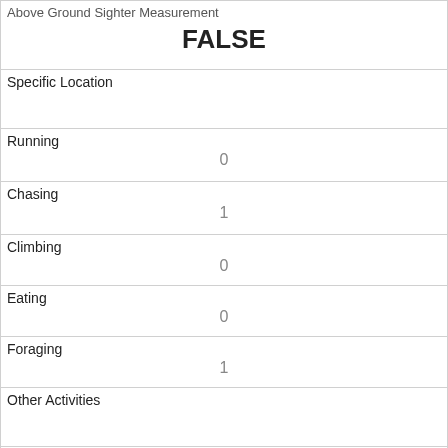| Above Ground Sighter Measurement | FALSE |
| Specific Location |  |
| Running | 0 |
| Chasing | 1 |
| Climbing | 0 |
| Eating | 0 |
| Foraging | 1 |
| Other Activities |  |
| Kuks | 0 |
| Quaas | 1 |
| Moans |  |